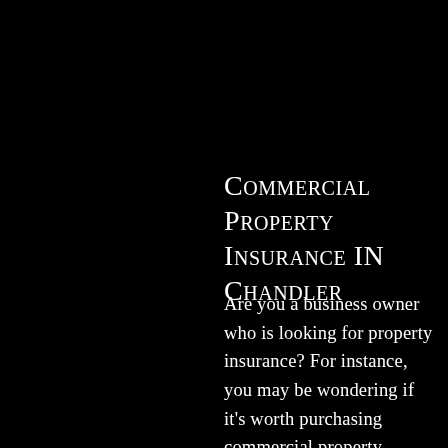Commercial Property Insurance IN Chandler
Are you a business owner who is looking for property insurance? For instance, you may be wondering if it's worth purchasing commercial property insurance. The answer is yes, it is definitely worth purchasing this type of insurance. First, commercial property insurance can help protect your business in the event of a burglary or fire. Second, it can also